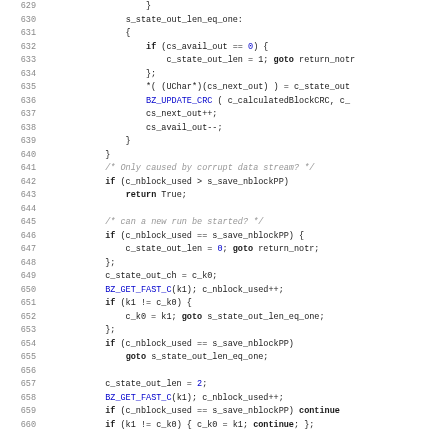[Figure (screenshot): Source code listing lines 629-660, C code for bzip2 decompression state machine]